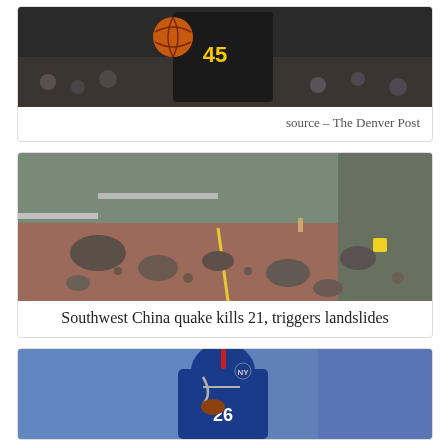[Figure (photo): Basketball player wearing jersey number 45 in a dark uniform holding a basketball, crowd in background]
source – The Denver Post
[Figure (photo): Road covered in rocks and debris from landslides after earthquake in Southwest China]
Southwest China quake kills 21, triggers landslides
[Figure (photo): American football player in blue New York Giants uniform number 26 running with the ball]